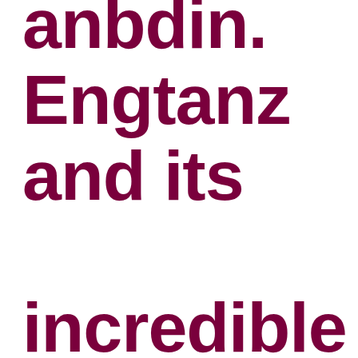anbdin. Engtanz and its incredible tears inducing bontlinebond